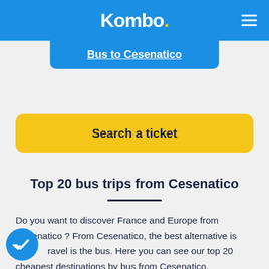Kombo.
Bus to Cesenatico
Search a ticket
Top 20 bus trips from Cesenatico
Do you want to discover France and Europe from Cesenatico ? From Cesenatico, the best alternative is travel is the bus. Here you can see our top 20 cheapest destinations by bus from Cesenatico.